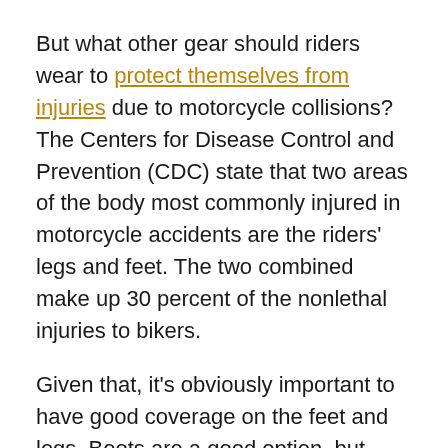But what other gear should riders wear to protect themselves from injuries due to motorcycle collisions? The Centers for Disease Control and Prevention (CDC) state that two areas of the body most commonly injured in motorcycle accidents are the riders' legs and feet. The two combined make up 30 percent of the nonlethal injuries to bikers.
Given that, it's obviously important to have good coverage on the feet and legs. Boots are a good option, but make sure that they are the lace-up variety. Slip-on boots can come off in an accident, leaving the feet vulnerable to injuries. The boots should come up over the tops of the ankles, as the skin is very thin in this area.